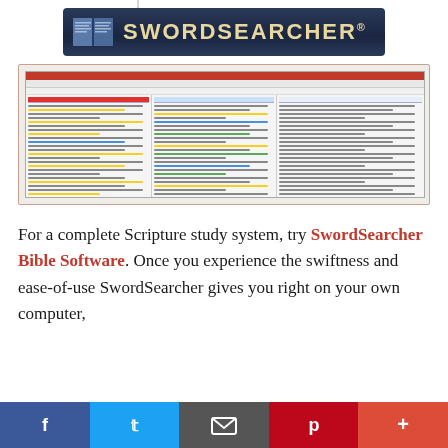[Figure (logo): SwordSearcher Bible Software logo with sword, open book, and stylized text on dark blue background]
[Figure (screenshot): Screenshot of SwordSearcher Bible Software showing multiple panels with Bible text, search results, and commentary including highlighted passages in yellow, blue, and green]
For a complete Scripture study system, try SwordSearcher Bible Software. Once you experience the swiftness and ease-of-use SwordSearcher gives you right on your own computer,
[Figure (infographic): Social sharing bar with Facebook, Twitter, Email, Pinterest, and Google Plus buttons]